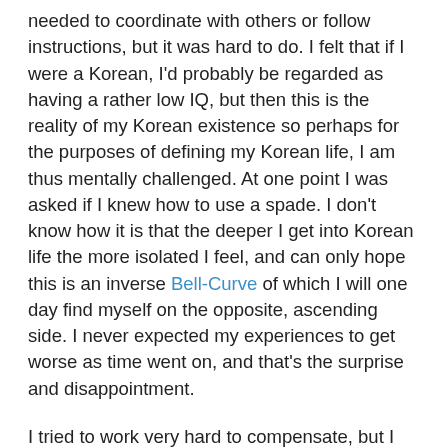needed to coordinate with others or follow instructions, but it was hard to do. I felt that if I were a Korean, I'd probably be regarded as having a rather low IQ, but then this is the reality of my Korean existence so perhaps for the purposes of defining my Korean life, I am thus mentally challenged. At one point I was asked if I knew how to use a spade. I don't know how it is that the deeper I get into Korean life the more isolated I feel, and can only hope this is an inverse Bell-Curve of which I will one day find myself on the opposite, ascending side. I never expected my experiences to get worse as time went on, and that's the surprise and disappointment.
I tried to work very hard to compensate, but I was sorry that between this and the tight schedule I never had the chance to leave the compound and walk around the area. Life in rural Korea is radically different to life in the cities, and I thought there must be much to discover. I also really needed that elusive perfect moment of tranquillity that was hinted at, and the faintest promise of some enlightenment it might carry with it, but instead it seemed we exported our city lives into the countryside, changed one form of work for another,